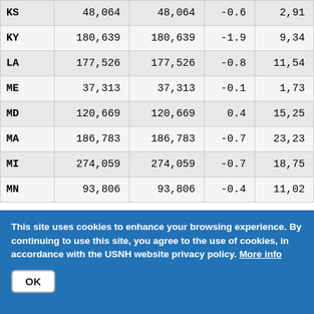| State | Col2 | Col3 | Col4 | Col5 |
| --- | --- | --- | --- | --- |
| KS | 48,064 | 48,064 | -0.6 | 2,91 |
| KY | 180,639 | 180,639 | -1.9 | 9,34 |
| LA | 177,526 | 177,526 | -0.8 | 11,54 |
| ME | 37,313 | 37,313 | -0.1 | 1,73 |
| MD | 120,669 | 120,669 | 0.4 | 15,25 |
| MA | 186,783 | 186,783 | -0.7 | 23,23 |
| MI | 274,059 | 274,059 | -0.7 | 18,75 |
| MN | 93,806 | 93,806 | -0.4 | 11,02 |
This site uses cookies to enhance your browsing experience. By continuing to use this site, you agree to the use of cookies, in accordance with the USNH website privacy policy. More info
OK